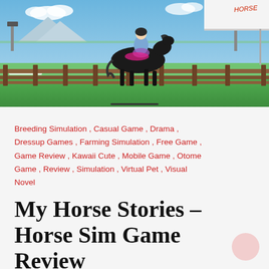[Figure (illustration): A cartoon/illustrated scene of a rider on a dark horse at an equestrian venue, with green grass, a brown wooden fence, stadium lights, tents, and a blue sky with clouds in the background.]
Breeding Simulation , Casual Game , Drama , Dressup Games , Farming Simulation , Free Game , Game Review , Kawaii Cute , Mobile Game , Otome Game , Review , Simulation , Virtual Pet , Visual Novel
My Horse Stories – Horse Sim Game Review
June 3, 2020   By GeekySweetie
Affiliate links within this post may be commissionable.